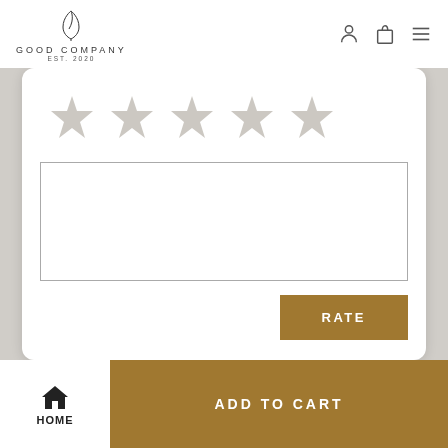GOOD COMPANY EST. 2020
[Figure (illustration): Five light gray star icons arranged horizontally for a rating interface]
RATE
HOME  ADD TO CART